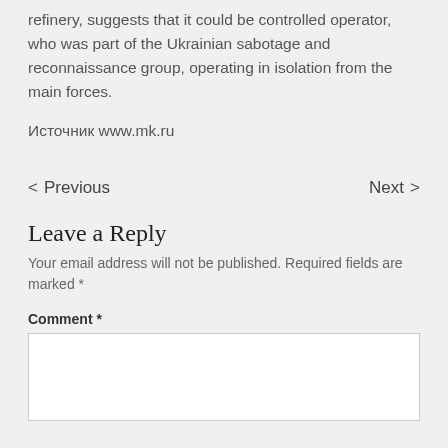refinery, suggests that it could be controlled operator, who was part of the Ukrainian sabotage and reconnaissance group, operating in isolation from the main forces.
Источник www.mk.ru
< Previous   Next >
Leave a Reply
Your email address will not be published. Required fields are marked *
Comment *